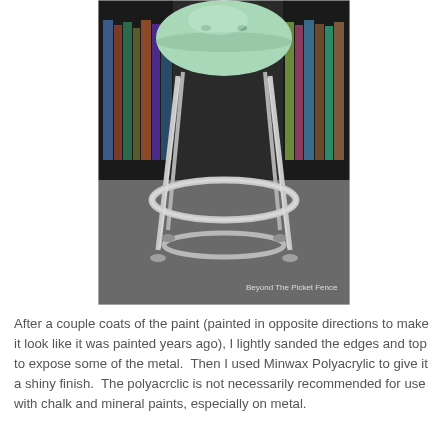[Figure (photo): A vintage-style metal bar stool with a mint green / pale aqua painted round seat and chrome legs with a circular footrest ring, photographed against a background with bookshelves. A small watermark reads 'Beyond The Picket Fence'.]
After a couple coats of the paint (painted in opposite directions to make it look like it was painted years ago), I lightly sanded the edges and top to expose some of the metal.  Then I used Minwax Polyacrylic to give it a shiny finish.  The polyacrclic is not necessarily recommended for use with chalk and mineral paints, especially on metal.